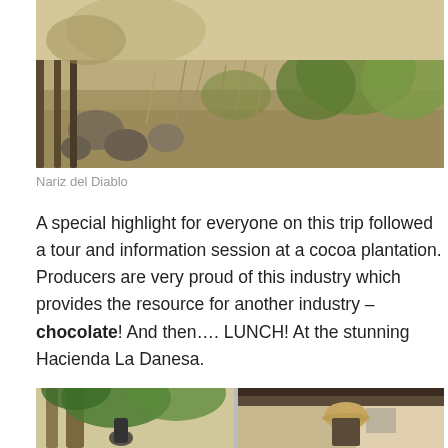[Figure (photo): Dry scrubland landscape with rocky ground, sparse dry grasses, and some green shrubs. Wooden fence posts visible on the left side. Outdoor nature scene, Nariz del Diablo area.]
Nariz del Diablo
A special highlight for everyone on this trip followed a tour and information session at a cocoa plantation. Producers are very proud of this industry which provides the resource for another industry – chocolate! And then…. LUNCH! At the stunning Hacienda La Danesa.
[Figure (photo): Two people visible outdoors near trees and a building with a thatched or corrugated roof. One person wearing a straw hat is on the right side.]